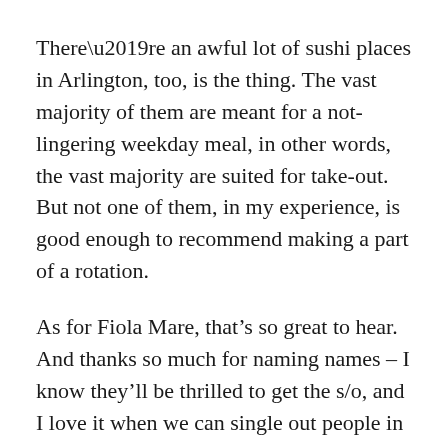There’re an awful lot of sushi places in Arlington, too, is the thing. The vast majority of them are meant for a not-lingering weekday meal, in other words, the vast majority are suited for take-out. But not one of them, in my experience, is good enough to recommend making a part of a rotation.
As for Fiola Mare, that’s so great to hear. And thanks so much for naming names – I know they’ll be thrilled to get the s/o, and I love it when we can single out people in the